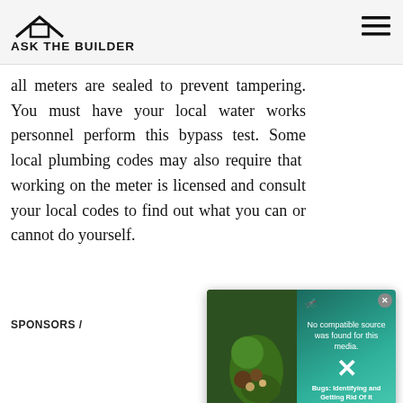ASK THE BUILDER
all meters are sealed to prevent tampering. You must have your local water works personnel perform this bypass test. Some local plumbing codes may also stipulate that working on the meter is licensed and consult your local codes to find out what you can or cannot do yourself.
[Figure (screenshot): Video player overlay showing 'No compatible source was found for this media.' with a large X button, overlaid on a thumbnail image of a plant/bug. Green gradient background with text 'Bugs: Identifying and Getting Rid Of It']
SPONSORS /